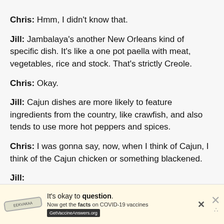Chris: Hmm, I didn't know that.
Jill: Jambalaya's another New Orleans kind of specific dish. It's like a one pot paella with meat, vegetables, rice and stock. That's strictly Creole.
Chris: Okay.
Jill: Cajun dishes are more likely to feature ingredients from the country, like crawfish, and also tends to use more hot peppers and spices.
Chris: I was gonna say, now, when I think of Cajun, I think of the Cajun chicken or something blackened.
Jill:
[Figure (infographic): Advertisement banner: It's okay to question. Now get the facts on COVID-19 vaccines. GetVaccineAnswers.org]